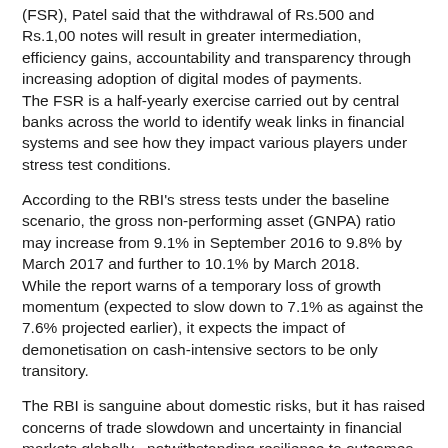(FSR), Patel said that the withdrawal of Rs.500 and Rs.1,00 notes will result in greater intermediation, efficiency gains, accountability and transparency through increasing adoption of digital modes of payments. The FSR is a half-yearly exercise carried out by central banks across the world to identify weak links in financial systems and see how they impact various players under stress test conditions.
According to the RBI's stress tests under the baseline scenario, the gross non-performing asset (GNPA) ratio may increase from 9.1% in September 2016 to 9.8% by March 2017 and further to 10.1% by March 2018. While the report warns of a temporary loss of growth momentum (expected to slow down to 7.1% as against the 7.6% projected earlier), it expects the impact of demonetisation on cash-intensive sectors to be only transitory.
The RBI is sanguine about domestic risks, but it has raised concerns of trade slowdown and uncertainty in financial markets globally , notwithstanding resilience to outcomes of